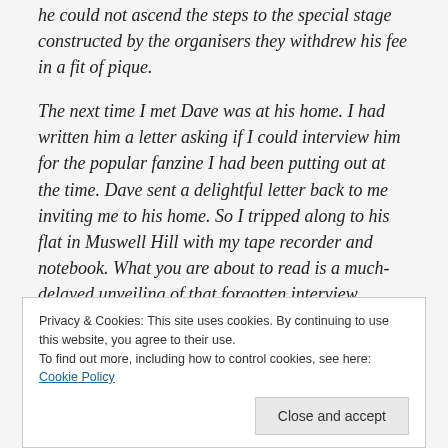he could not ascend the steps to the special stage constructed by the organisers they withdrew his fee in a fit of pique.
The next time I met Dave was at his home. I had written him a letter asking if I could interview him for the popular fanzine I had been putting out at the time. Dave sent a delightful letter back to me inviting me to his home. So I tripped along to his flat in Muswell Hill with my tape recorder and notebook. What you are about to read is a much-delayed unveiling of that forgotten interview...
Privacy & Cookies: This site uses cookies. By continuing to use this website, you agree to their use.
To find out more, including how to control cookies, see here: Cookie Policy
Close and accept
father to me in many ways. I was born in Uxbridge